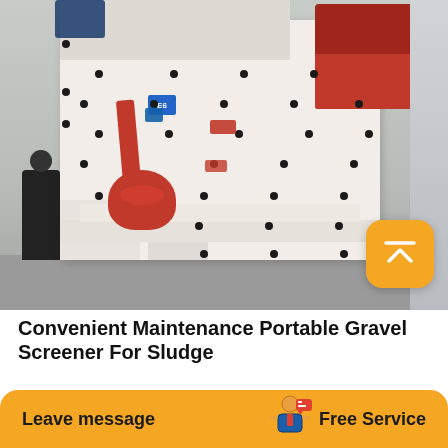[Figure (photo): Close-up photograph of a large white industrial impact crusher/portable gravel screener machine with red accents (red hopper opening at top right, red cylinder and arm assembly in the middle-left), covered with many black bolt/hole dots across its surface. The machine is displayed in what appears to be an exhibition hall. A person in dark clothing stands to the left. A golden/orange rounded-square scroll-to-top button icon is overlaid at bottom-right of the image.]
Convenient Maintenance Portable Gravel Screener For Sludge
Convenient maintenance portable gravel screener for sludge ore sand coal.
Leave message
Free Service